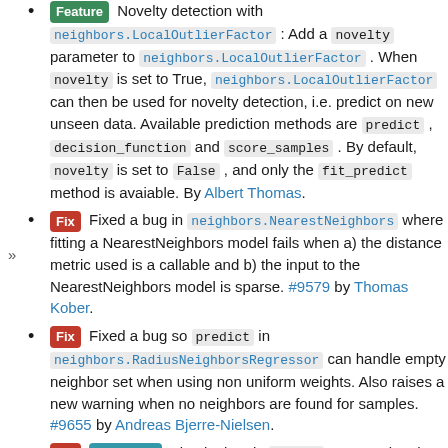Feature Novelty detection with neighbors.LocalOutlierFactor: Add a novelty parameter to neighbors.LocalOutlierFactor. When novelty is set to True, neighbors.LocalOutlierFactor can then be used for novelty detection, i.e. predict on new unseen data. Available prediction methods are predict, decision_function and score_samples. By default, novelty is set to False, and only the fit_predict method is avaiable. By Albert Thomas.
Fix Fixed a bug in neighbors.NearestNeighbors where fitting a NearestNeighbors model fails when a) the distance metric used is a callable and b) the input to the NearestNeighbors model is sparse. #9579 by Thomas Kober.
Fix Fixed a bug so predict in neighbors.RadiusNeighborsRegressor can handle empty neighbor set when using non uniform weights. Also raises a new warning when no neighbors are found for samples. #9655 by Andreas Bjerre-Nielsen.
Fix Efficiency Fixed a bug in KDTree construction that